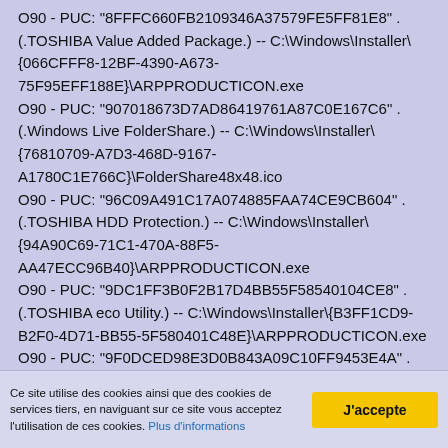O90 - PUC: "8FFFC660FB2109346A37579FE5FF81E8" . (.TOSHIBA Value Added Package.) -- C:\Windows\Installer\{066CFFF8-12BF-4390-A673-75F95EFF188E}\ARPPRODUCTICON.exe
O90 - PUC: "907018673D7AD86419761A87C0E167C6" . (.Windows Live FolderShare.) -- C:\Windows\Installer\{76810709-A7D3-468D-9167-A1780C1E766C}\FolderShare48x48.ico
O90 - PUC: "96C09A491C17A074885FAA74CE9CB604" . (.TOSHIBA HDD Protection.) -- C:\Windows\Installer\{94A90C69-71C1-470A-88F5-AA47ECC96B40}\ARPPRODUCTICON.exe
O90 - PUC: "9DC1FF3B0F2B17D4BB55F58540104CE8" . (.TOSHIBA eco Utility.) -- C:\Windows\Installer\{B3FF1CD9-B2F0-4D71-BB55-5F580401C48E}\ARPPRODUCTICON.exe
O90 - PUC: "9F0DCED98E3D0B843A09C10FF9453E4A" . (.TOSHIBA PC Health Monitor.) -- C:\Windows\Installer\{9DECD0F9-D3E8-48B0-A390-1CF09F54E3A4}\ARPPRODUCTICON.exe
Ce site utilise des cookies ainsi que des cookies de services tiers, en naviguant sur ce site vous acceptez l'utilisation de ces cookies. Plus d'informations